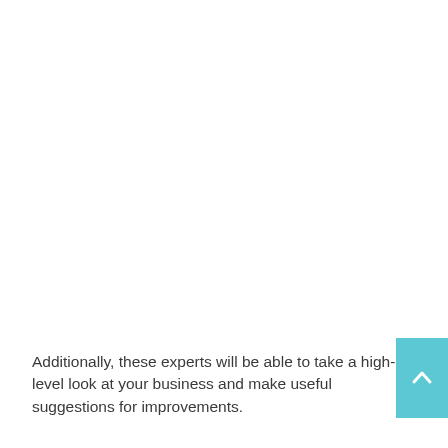Additionally, these experts will be able to take a high-level look at your business and make useful suggestions for improvements.